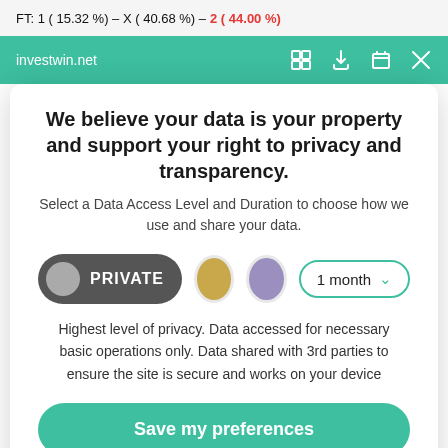FT: 1 ( 15.32 %) – X ( 40.68 %) – 2 ( 44.00 %)
investwin.net
We believe your data is your property and support your right to privacy and transparency.
Select a Data Access Level and Duration to choose how we use and share your data.
PRIVATE  [gold circle]  [purple circle]  1 month ▾
Highest level of privacy. Data accessed for necessary basic operations only. Data shared with 3rd parties to ensure the site is secure and works on your device
Save my preferences
Customize
Privacy policy